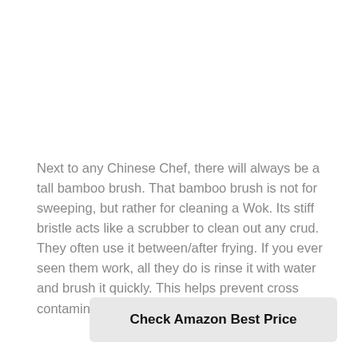Next to any Chinese Chef, there will always be a tall bamboo brush. That bamboo brush is not for sweeping, but rather for cleaning a Wok. Its stiff bristle acts like a scrubber to clean out any crud. They often use it between/after frying. If you ever seen them work, all they do is rinse it with water and brush it quickly. This helps prevent cross contamination of food when cooking.
Check Amazon Best Price